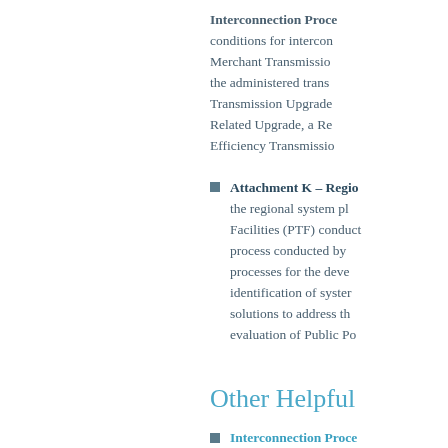Interconnection Proce... conditions for interconnection... Merchant Transmission... the administered trans... Transmission Upgrade... Related Upgrade, a Re... Efficiency Transmission...
Attachment K – Region... the regional system pla... Facilities (PTF) conduct... process conducted by... processes for the deve... identification of system... solutions to address th... evaluation of Public Po...
Other Helpful
Interconnection Proce... Assists in understandi...